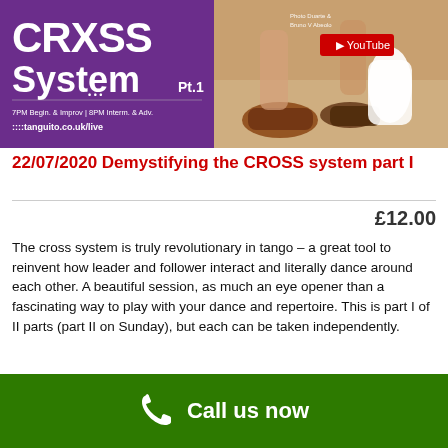[Figure (screenshot): Promotional image for tango class: left side purple background with 'CRXSS System Pt.1' text and tanguito.co.uk/live URL; right side shows a YouTube thumbnail of tango dancers' feet/legs]
22/07/2020 Demystifying the CROSS system part I
£12.00
The cross system is truly revolutionary in tango – a great tool to reinvent how leader and follower interact and literally dance around each other. A beautiful session, as much an eye opener than a fascinating way to play with your dance and repertoire. This is part I of II parts (part II on Sunday), but each can be taken independently.
Add to cart   Details
Call us now